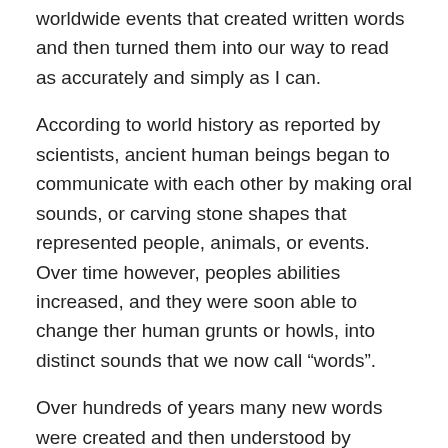worldwide events that created written words and then turned them into our way to read as accurately and simply as I can.
According to world history as reported by scientists, ancient human beings began to communicate with each other by making oral sounds, or carving stone shapes that represented people, animals, or events. Over time however, peoples abilities increased, and they were soon able to change ther human grunts or howls, into distinct sounds that we now call “words”.
Over hundreds of years many new words were created and then understood by people who lived in the same parts of the world,. but did not spread to other countries,. But words still continued to grow and change their forms. People moved from place to place, and the words